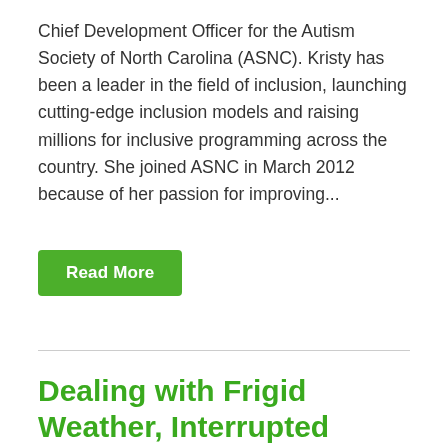Chief Development Officer for the Autism Society of North Carolina (ASNC). Kristy has been a leader in the field of inclusion, launching cutting-edge inclusion models and raising millions for inclusive programming across the country. She joined ASNC in March 2012 because of her passion for improving...
Read More
Dealing with Frigid Weather, Interrupted Routines
February 20th, 2015
This article was contributed by Leica Anzaldo, Training Manager for the Autism Society of North Carolina. We have certainly felt the arctic blast this past week, and while it created inconveniences for